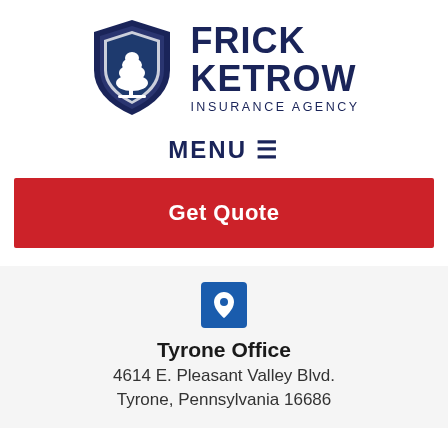[Figure (logo): Frick Ketrow Insurance Agency logo: shield with tree on left, bold text FRICK KETROW INSURANCE AGENCY on right]
MENU ≡
Get Quote
[Figure (illustration): Blue square location pin icon]
Tyrone Office
4614 E. Pleasant Valley Blvd.
Tyrone, Pennsylvania 16686